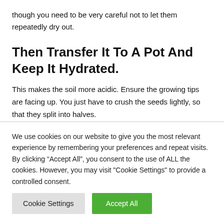though you need to be very careful not to let them repeatedly dry out.
Then Transfer It To A Pot And Keep It Hydrated.
This makes the soil more acidic. Ensure the growing tips are facing up. You just have to crush the seeds lightly, so that they split into halves.
We use cookies on our website to give you the most relevant experience by remembering your preferences and repeat visits. By clicking “Accept All”, you consent to the use of ALL the cookies. However, you may visit "Cookie Settings" to provide a controlled consent.